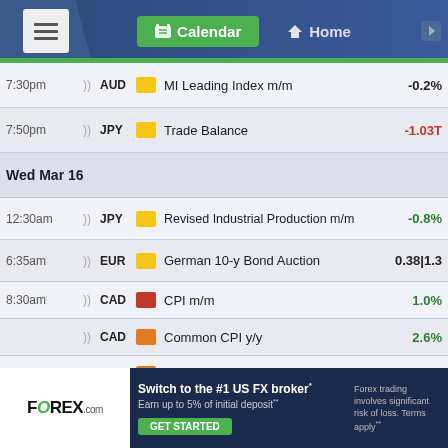Calendar | Home
| Time |  | Currency | Impact | Event | Value |
| --- | --- | --- | --- | --- | --- |
| 7:30pm | )) | AUD | yellow | MI Leading Index m/m | -0.2% |
| 7:50pm | )) | JPY | yellow | Trade Balance | -1.03T |
| Wed Mar 16 |  |  |  |  |  |
| 12:30am | )) | JPY | yellow | Revised Industrial Production m/m | -0.8% |
| 6:35am | )) | EUR | yellow | German 10-y Bond Auction | 0.38|1.3 |
| 8:30am | )) | CAD | red | CPI m/m | 1.0% |
|  | )) | CAD | orange | Common CPI y/y | 2.6% |
|  | )) | CAD | orange | Median CPI y/y | 3.5% |
|  | )) | CAD | orange | Trimmed CPI y/y | 4.3% |
|  | )) | CAD | yellow | Wholesale Sales m/m | 4.2% |
|  | )) | USD | red | Core Retail Sales m/m | 0.2% |
|  | )) | USD | red | Retail Sales m/m | 0.3% |
[Figure (infographic): FOREX.com advertisement: Switch to the #1 US FX broker. Earn up to 5% of initial deposit. GET STARTED. Forex trading involves significant risk of loss. Terms apply.]